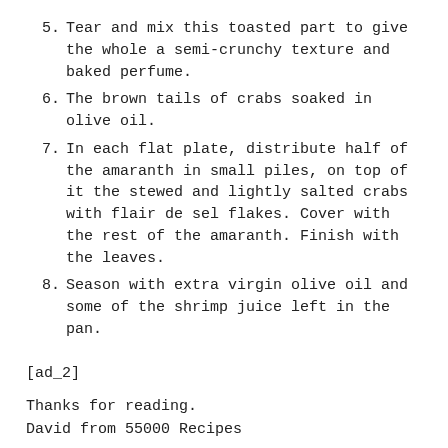5. Tear and mix this toasted part to give the whole a semi-crunchy texture and baked perfume.
6. The brown tails of crabs soaked in olive oil.
7. In each flat plate, distribute half of the amaranth in small piles, on top of it the stewed and lightly salted crabs with flair de sel flakes. Cover with the rest of the amaranth. Finish with the leaves.
8. Season with extra virgin olive oil and some of the shrimp juice left in the pan.
[ad_2]
Thanks for reading.
David from 55000 Recipes